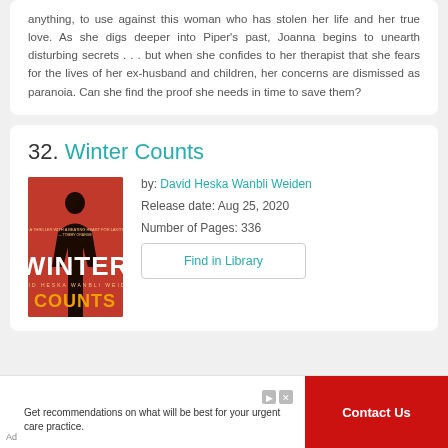anything, to use against this woman who has stolen her life and her true love. As she digs deeper into Piper's past, Joanna begins to unearth disturbing secrets . . . but when she confides to her therapist that she fears for the lives of her ex-husband and children, her concerns are dismissed as paranoia. Can she find the proof she needs in time to save them?
32. Winter Counts
[Figure (illustration): Book cover of 'Winter Counts' by David Heska Wanbli Weiden. Red background with a dark silhouette figure, bold white text 'WINTER' and orange text 'COUNTS'.]
by: David Heska Wanbli Weiden
Release date: Aug 25, 2020
Number of Pages: 336
Find in Library
Get recommendations on what will be best for your urgent care practice.
Contact Us